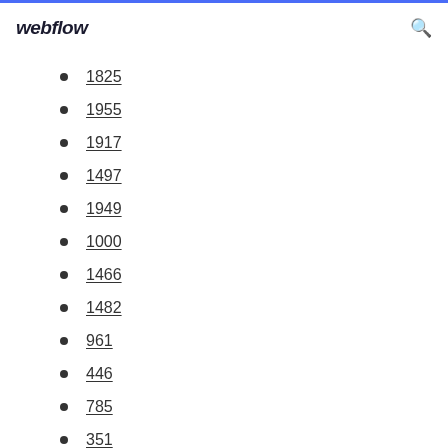webflow
1825
1955
1917
1497
1949
1000
1466
1482
961
446
785
351